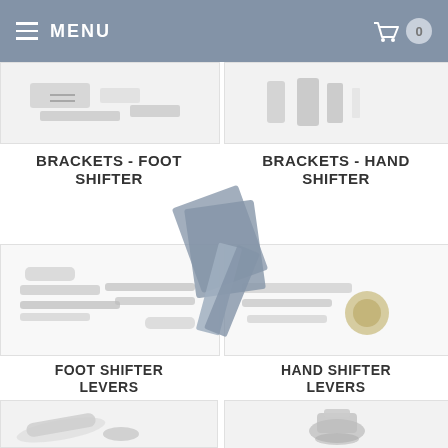MENU
[Figure (photo): Brackets foot shifter hardware parts on white background]
[Figure (photo): Brackets hand shifter hardware parts on white background]
BRACKETS - FOOT SHIFTER
BRACKETS - HAND SHIFTER
[Figure (photo): Foot shifter levers assortment on white background]
[Figure (photo): Hand shifter levers assortment on white background]
FOOT SHIFTER LEVERS
HAND SHIFTER LEVERS
[Figure (photo): Bottom left partially visible product image]
[Figure (photo): Bottom right partially visible product image]